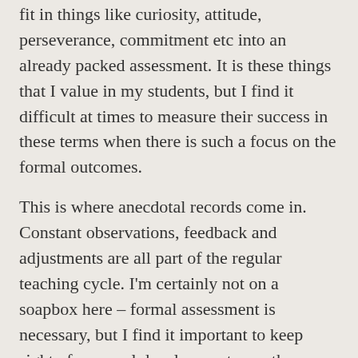fit in things like curiosity, attitude, perseverance, commitment etc into an already packed assessment. It is these things that I value in my students, but I find it difficult at times to measure their success in these terms when there is such a focus on the formal outcomes.
This is where anecdotal records come in. Constant observations, feedback and adjustments are all part of the regular teaching cycle. I'm certainly not on a soapbox here – formal assessment is necessary, but I find it important to keep sight of personal development over the formal meeting of prescribed benchmarks.
[Figure (other): Row of social sharing icon buttons: Facebook (blue), Twitter (light blue), Print (dark grey), Pinterest (red), More/Add (light grey)]
Share this: